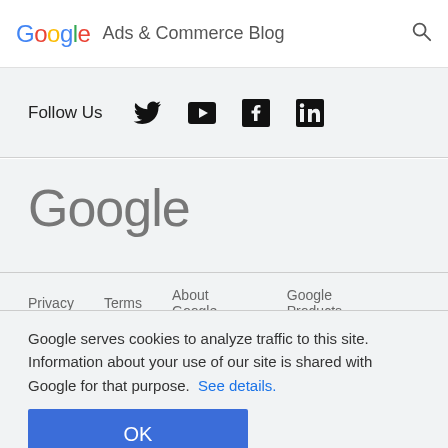Google Ads & Commerce Blog
Follow Us
[Figure (logo): Google wordmark large gray footer logo]
Privacy   Terms   About Google   Google Products
Google serves cookies to analyze traffic to this site. Information about your use of our site is shared with Google for that purpose. See details.